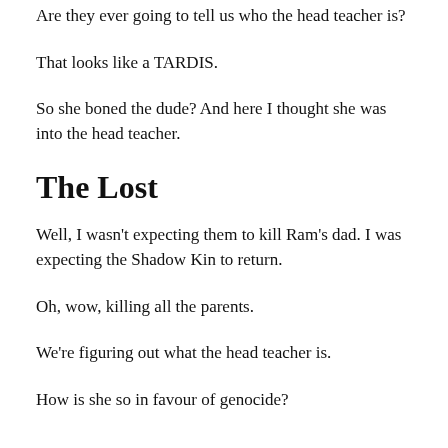Are they ever going to tell us who the head teacher is?
That looks like a TARDIS.
So she boned the dude? And here I thought she was into the head teacher.
The Lost
Well, I wasn't expecting them to kill Ram's dad. I was expecting the Shadow Kin to return.
Oh, wow, killing all the parents.
We're figuring out what the head teacher is.
How is she so in favour of genocide?